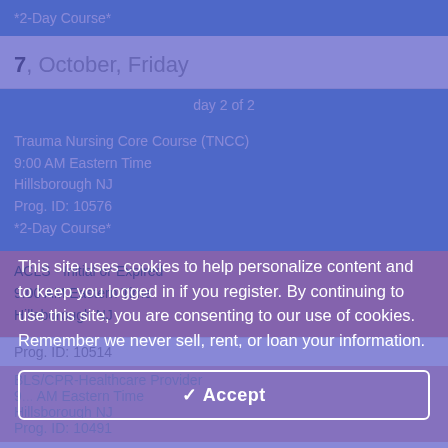*2-Day Course*
7, October, Friday
day 2 of 2
Trauma Nursing Core Course (TNCC)
9:00 AM Eastern Time
Hillsborough NJ
Prog. ID: 10576
*2-Day Course*
ACLS - Initial or Expired
9:00 AM Eastern Time
Hillsborough NJ
Prog. ID: 10514
BLS/CPR-Healthcare Provider
9... AM Eastern Time
Hillsborough NJ
Prog. ID: 10491
12, October, Wednesday
BLS/CPR-Healthcare Provider
This site uses cookies to help personalize content and to keep you logged in if you register. By continuing to use this site, you are consenting to our use of cookies. Remember we never sell, rent, or loan your information.